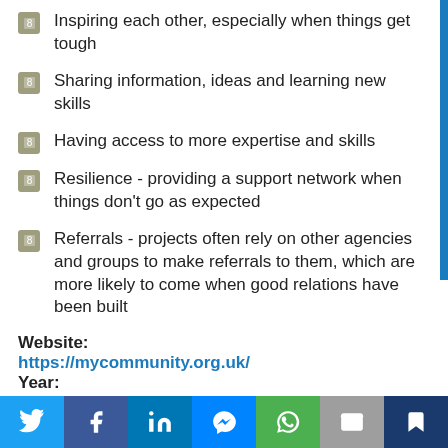Inspiring each other, especially when things get tough
Sharing information, ideas and learning new skills
Having access to more expertise and skills
Resilience - providing a support network when things don't go as expected
Referrals - projects often rely on other agencies and groups to make referrals to them, which are more likely to come when good relations have been built
Website: https://mycommunity.org.uk/ Year: 2015